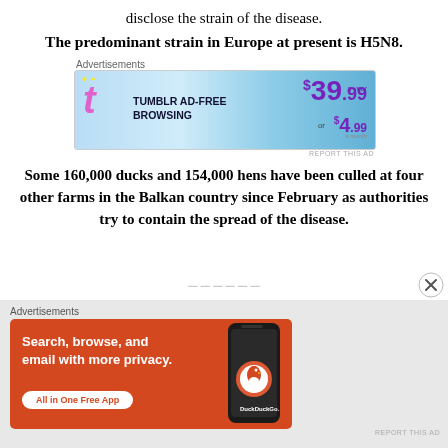disclose the strain of the disease.
The predominant strain in Europe at present is H5N8.
[Figure (other): Tumblr Ad-Free Browsing advertisement banner. $39.99 a year or $4.99 a month.]
Some 160,000 ducks and 154,000 hens have been culled at four other farms in the Balkan country since February as authorities try to contain the spread of the disease.
[Figure (other): DuckDuckGo advertisement: Search, browse, and email with more privacy. All in One Free App.]